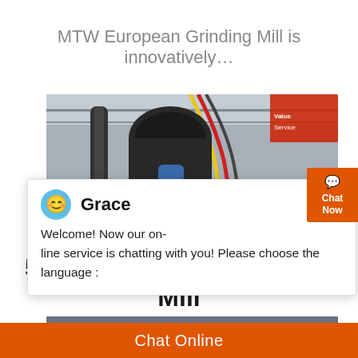MTW European Grinding Mill is innovatively…
[Figure (photo): Industrial grinding mill machinery with pipes and cables visible in a factory setting]
[Figure (screenshot): Chat widget showing agent Grace with message: Welcome! Now our on-line service is chatting with you! Please choose the language]
[Figure (photo): Large industrial roller grinding mill machinery on factory floor with blue circle badge showing number 1]
5X Series Roller Grinding Mill
Chat Online